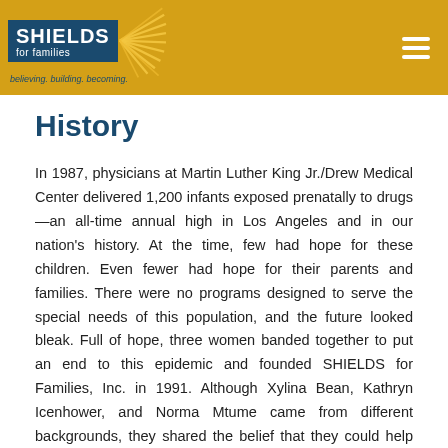SHIELDS for families — believing. building. becoming.
History
In 1987, physicians at Martin Luther King Jr./Drew Medical Center delivered 1,200 infants exposed prenatally to drugs—an all-time annual high in Los Angeles and in our nation's history. At the time, few had hope for these children. Even fewer had hope for their parents and families. There were no programs designed to serve the special needs of this population, and the future looked bleak. Full of hope, three women banded together to put an end to this epidemic and founded SHIELDS for Families, Inc. in 1991. Although Xylina Bean, Kathryn Icenhower, and Norma Mtume came from different backgrounds, they shared the belief that they could help shape the future. And they have. SHIELDS for Families started in a trailer on the campus of King Drew Medical Center, providing services through the GENESIS